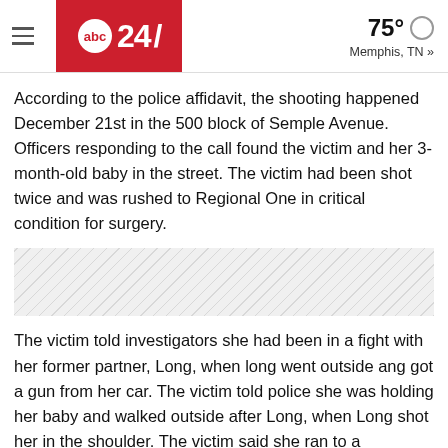abc 24/ | 75° Memphis, TN »
According to the police affidavit, the shooting happened December 21st in the 500 block of Semple Avenue. Officers responding to the call found the victim and her 3-month-old baby in the street. The victim had been shot twice and was rushed to Regional One in critical condition for surgery.
[Figure (photo): Hatched placeholder image area, likely a photo or advertisement blurred/unavailable]
The victim told investigators she had been in a fight with her former partner, Long, when long went outside ang got a gun from her car. The victim told police she was holding her baby and walked outside after Long, when Long shot her in the shoulder. The victim said she ran to a neighbor's home for help, and Long followed and shot her in the face.
At that point, the affidavit states Long forced the victim and